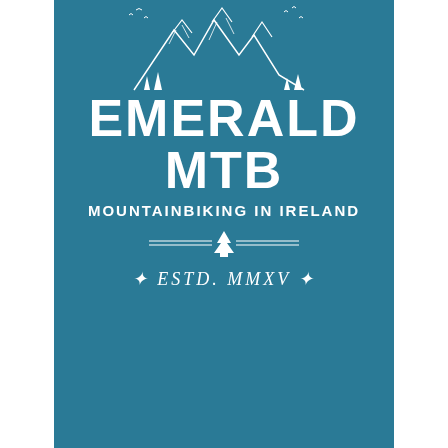[Figure (logo): Mountain illustration: white line-art sketch of mountain peaks with snow, trees, and birds, on teal/blue background]
EMERALD MTB
MOUNTAINBIKING IN IRELAND
[Figure (illustration): Decorative divider with horizontal lines and a small pine tree in center]
ESTD. MMXV